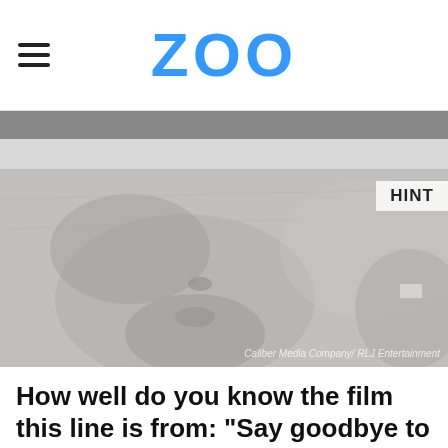ZOO
[Figure (photo): Grayscale image of a bearded man lying on the ground looking upward, with rocky terrain. A 'HINT' badge is visible in the top right corner. Watermark reads 'Caliber Media Company / RLJ Entertainment'.]
How well do you know the film this line is from: "Say goodbye to my wife, I'll say hello to yours"?